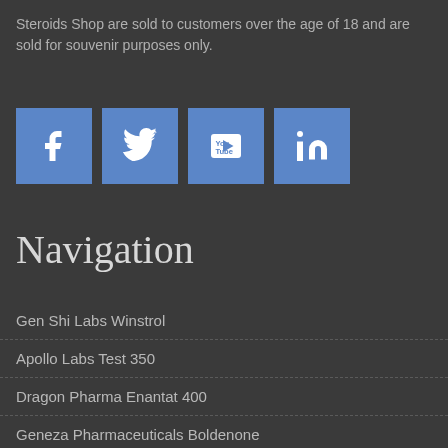Steroids Shop are sold to customers over the age of 18 and are sold for souvenir purposes only.
[Figure (infographic): Four social media icon buttons: Facebook (f), Twitter (bird), YouTube (You Tube), LinkedIn (in), all with blue square backgrounds]
Navigation
Gen Shi Labs Winstrol
Apollo Labs Test 350
Dragon Pharma Enantat 400
Geneza Pharmaceuticals Boldenone
Hilma Biocare Steroids
Organon Nandrolone Decanoate